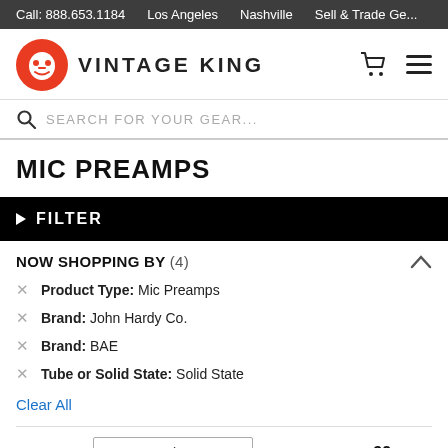Call: 888.653.1184   Los Angeles   Nashville   Sell & Trade Ge...
[Figure (logo): Vintage King logo: red stylized face/sun icon and bold text 'VINTAGE KING']
SEARCH FOR YOUR GEAR...
MIC PREAMPS
▶ FILTER
NOW SHOPPING BY (4)
Product Type: Mic Preamps
Brand: John Hardy Co.
Brand: BAE
Tube or Solid State: Solid State
Clear All
SORT BY: Most Popular   32 Items